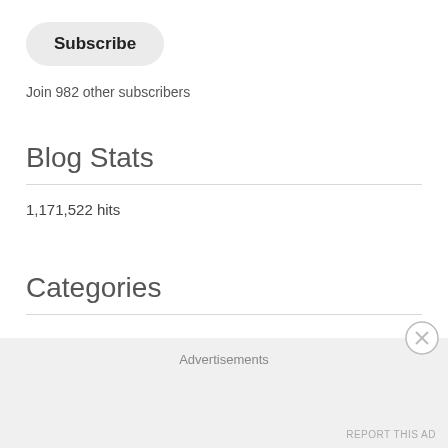Subscribe
Join 982 other subscribers
Blog Stats
1,171,522 hits
Categories
Advertisements
REPORT THIS AD